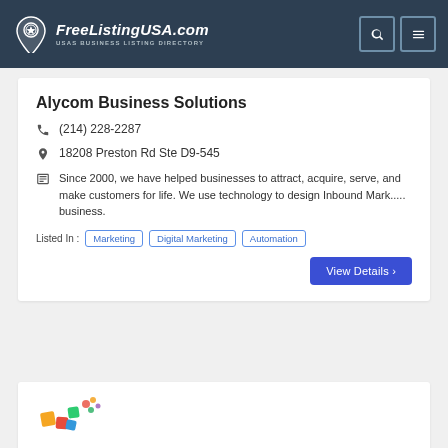FreeListingUSA.com — USAs BUSINESS LISTING DIRECTORY
Alycom Business Solutions
(214) 228-2287
18208 Preston Rd Ste D9-545
Since 2000, we have helped businesses to attract, acquire, serve, and make customers for life. We use technology to design Inbound Mark..... business.
Listed In :  Marketing   Digital Marketing   Automation
View Details ›